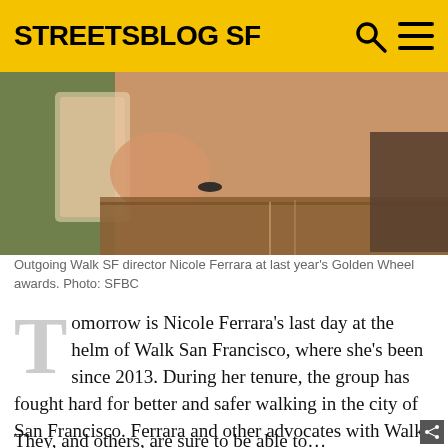STREETSBLOG SF
[Figure (photo): Outgoing Walk SF director Nicole Ferrara at a counter, wearing a floral dress, holding a phone or card, at the Golden Wheel awards event.]
Outgoing Walk SF director Nicole Ferrara at last year's Golden Wheel awards. Photo: SFBC
Tomorrow is Nicole Ferrara's last day at the helm of Walk San Francisco, where she's been since 2013. During her tenure, the group has fought hard for better and safer walking in the city of San Francisco. Ferrara and other advocates with Walk SF have been an ever-present force behind getting boarding islands for the L-Taraval, and adding turning restrictions and other safety measures on Market.
They, and others, are sure to be able to...